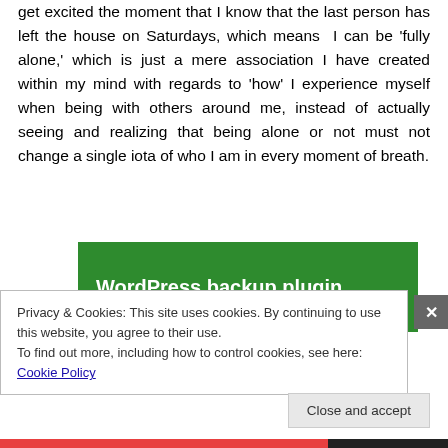get excited the moment that I know that the last person has left the house on Saturdays, which means I can be 'fully alone,' which is just a mere association I have created within my mind with regards to 'how' I experience myself when being with others around me, instead of actually seeing and realizing that being alone or not must not change a single iota of who I am in every moment of breath.
[Figure (screenshot): Green banner advertisement for 'WordPress backup plugin']
Privacy & Cookies: This site uses cookies. By continuing to use this website, you agree to their use.
To find out more, including how to control cookies, see here: Cookie Policy
Close and accept